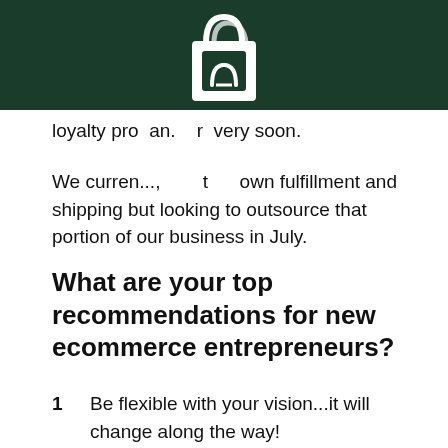[Figure (logo): White shopping bag logo icon on dark green background header bar]
loyalty pro an.    r  very soon.
We curren...,       t      own fulfillment and shipping but looking to outsource that portion of our business in July.
What are your top recommendations for new ecommerce entrepreneurs?
1   Be flexible with your vision...it will change along the way!